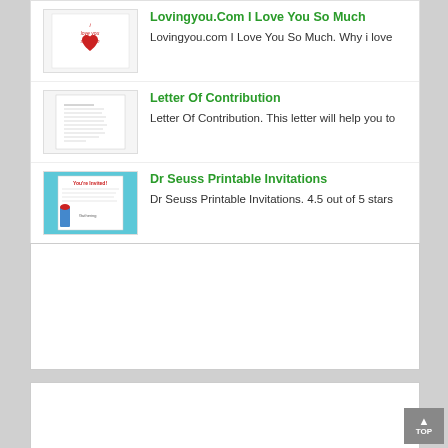[Figure (screenshot): Thumbnail image of 'I love you so much' card with red heart]
Lovingyou.Com I Love You So Much
Lovingyou.com I Love You So Much. Why i love
[Figure (screenshot): Thumbnail image of Letter Of Contribution document]
Letter Of Contribution
Letter Of Contribution. This letter will help you to
[Figure (screenshot): Thumbnail image of Dr Seuss Printable Invitations]
Dr Seuss Printable Invitations
Dr Seuss Printable Invitations. 4.5 out of 5 stars
[Figure (other): Advertisement box, large empty white rectangle]
[Figure (other): Advertisement box, partial white rectangle at bottom]